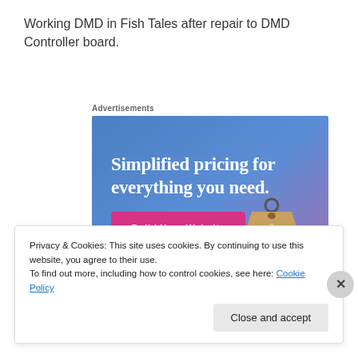Working DMD in Fish Tales after repair to DMD Controller board.
Advertisements
[Figure (illustration): Advertisement banner showing 'Simplified pricing for everything you need.' with a 'Build Your Website' pink button and a price tag graphic on a blue-to-purple gradient background.]
Privacy & Cookies: This site uses cookies. By continuing to use this website, you agree to their use.
To find out more, including how to control cookies, see here: Cookie Policy